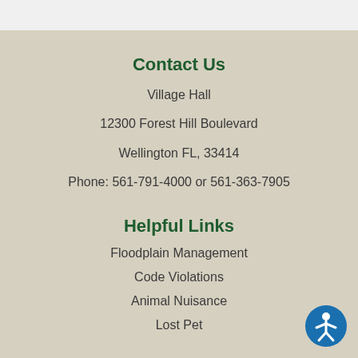Contact Us
Village Hall
12300 Forest Hill Boulevard
Wellington FL, 33414
Phone: 561-791-4000 or 561-363-7905
Helpful Links
Floodplain Management
Code Violations
Animal Nuisance
Lost Pet